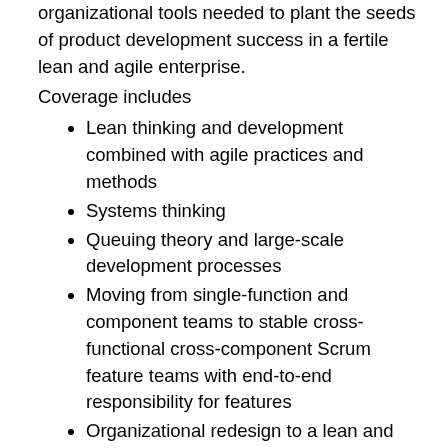organizational tools needed to plant the seeds of product development success in a fertile lean and agile enterprise.
Coverage includes
Lean thinking and development combined with agile practices and methods
Systems thinking
Queuing theory and large-scale development processes
Moving from single-function and component teams to stable cross-functional cross-component Scrum feature teams with end-to-end responsibility for features
Organizational redesign to a lean and agile enterprise that delivers value fast
Large-scale Scrum for multi-hundred-person product groups
In a competitive environment that demands ever-faster cycle times and greater innovation, applied